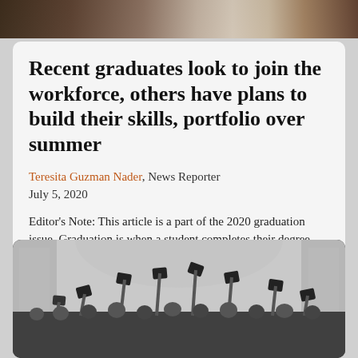[Figure (photo): Top cropped photo showing what appears to be a person or scene, partially visible at the top of the page]
Recent graduates look to join the workforce, others have plans to build their skills, portfolio over summer
Teresita Guzman Nader, News Reporter
July 5, 2020
Editor's Note: This article is a part of the 2020 graduation issue. Graduation is when a student completes their degree program, whereas, Commencement is an optional ceremony to celebrate graduating students. The...
[Figure (photo): Black and white photograph of graduates throwing their mortarboard caps in the air in celebration, with pillars visible in the background]